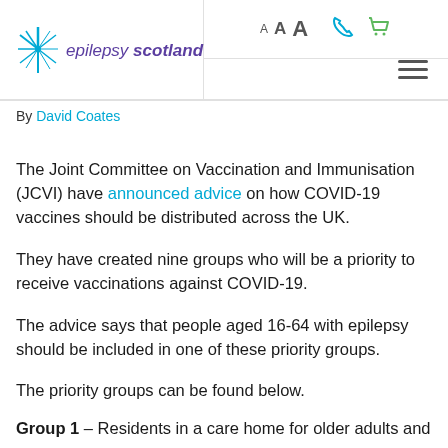[Figure (logo): Epilepsy Scotland logo with teal star and purple italic text reading 'epilepsy scotland']
By David Coates
The Joint Committee on Vaccination and Immunisation (JCVI) have announced advice on how COVID-19 vaccines should be distributed across the UK.
They have created nine groups who will be a priority to receive vaccinations against COVID-19.
The advice says that people aged 16-64 with epilepsy should be included in one of these priority groups.
The priority groups can be found below.
Group 1 – Residents in a care home for older adults and